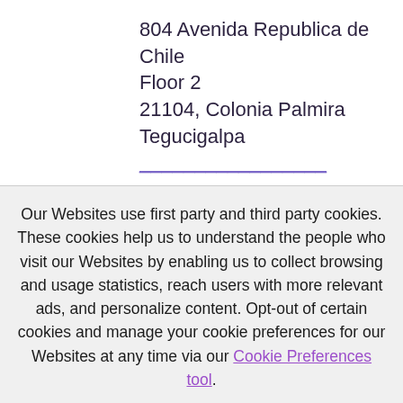804 Avenida Republica de Chile
Floor 2
21104, Colonia Palmira
Tegucigalpa
Our Websites use first party and third party cookies. These cookies help us to understand the people who visit our Websites by enabling us to collect browsing and usage statistics, reach users with more relevant ads, and personalize content. Opt-out of certain cookies and manage your cookie preferences for our Websites at any time via our Cookie Preferences tool.
Privacy Policy
OK